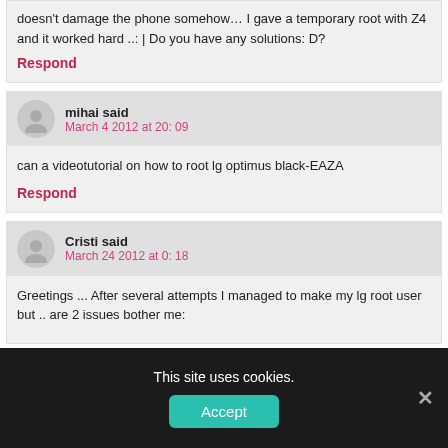doesn't damage the phone somehow… I gave a temporary root with Z4 and it worked hard ..: | Do you have any solutions: D?
Respond
mihai said
March 4 2012 at 20: 09
can a videotutorial on how to root lg optimus black-EAZA
Respond
Cristi said
March 24 2012 at 0: 18
Greetings ... After several attempts I managed to make my lg root user but .. are 2 issues bother me:
This site uses cookies.
Accept